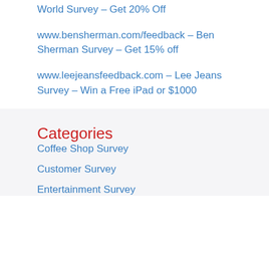World Survey – Get 20% Off
www.bensherman.com/feedback – Ben Sherman Survey – Get 15% off
www.leejeansfeedback.com – Lee Jeans Survey – Win a Free iPad or $1000
Categories
Coffee Shop Survey
Customer Survey
Entertainment Survey